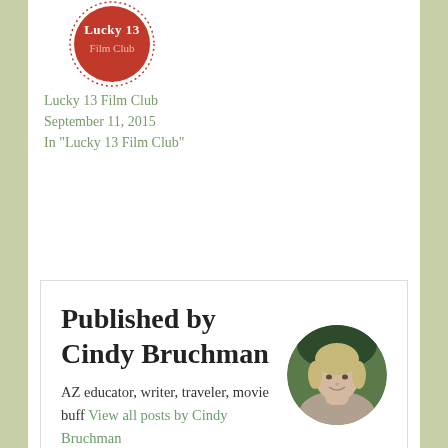[Figure (logo): Lucky 13 Film Club red circular badge logo with dotted border and text 'Lucky 13 Film Club']
Lucky 13 Film Club
September 11, 2015
In "Lucky 13 Film Club"
Published by Cindy Bruchman
AZ educator, writer, traveler, movie buff View all posts by Cindy Bruchman
[Figure (photo): Circular portrait photo of Cindy Bruchman, a woman with short blonde hair smiling, with green foliage in background]